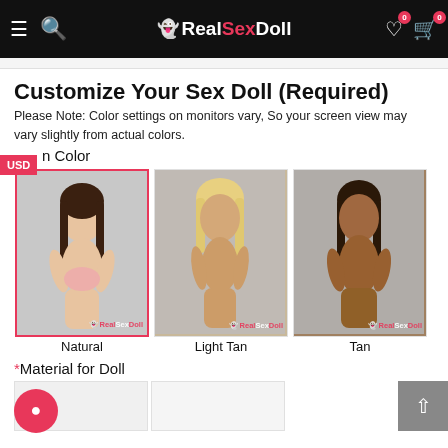RealSexDoll — navigation header with hamburger menu, search icon, logo, wishlist (0), cart (0)
Customize Your Sex Doll (Required)
Please Note: Color settings on monitors vary, So your screen view may vary slightly from actual colors.
Skin Color
[Figure (photo): Three skin tone options for sex dolls: Natural (light skin, selected with pink border), Light Tan (medium skin), and Tan (dark skin). Each shows a female figure with RealSexDoll watermark.]
Natural    Light Tan    Tan
*Material for Doll